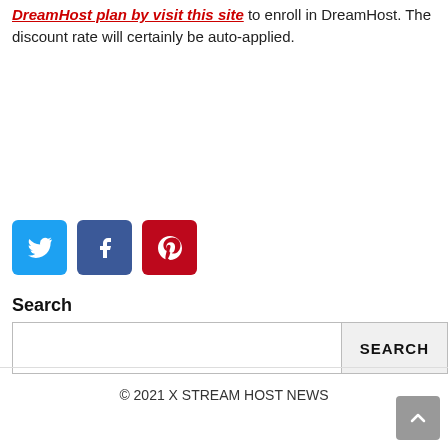DreamHost plan by visit this site to enroll in DreamHost. The discount rate will certainly be auto-applied.
[Figure (other): Social share buttons: Twitter (blue), Facebook (dark blue), Pinterest (red)]
Search
Search input field with SEARCH button
© 2021 X STREAM HOST NEWS